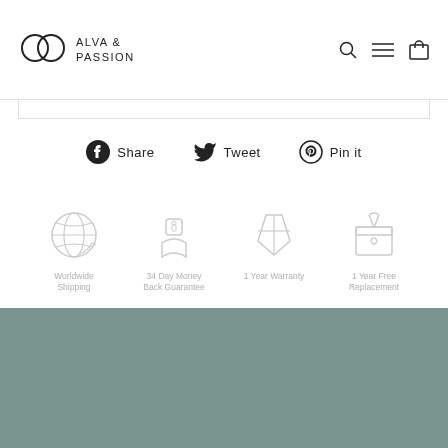ALVA & PASSION — navigation header with logo, search, menu, cart icons
[Figure (infographic): Social share buttons: Facebook Share, Twitter Tweet, Pinterest Pin it]
[Figure (infographic): Four feature icons: Worldwide Shipping, 34 Day Money Back Guarantee, 1 Year Warranty, 1 Year Free Replacement]
[Figure (other): Sage green footer band]